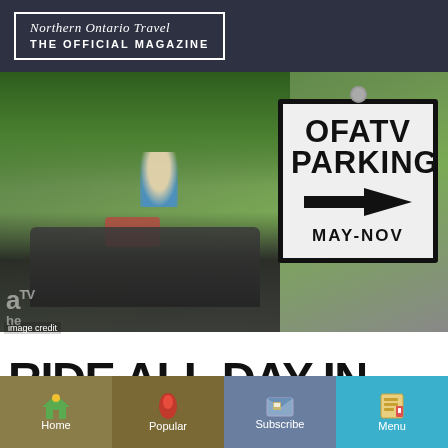Northern Ontario Travel THE OFFICIAL MAGAZINE
[Figure (photo): Left side shows outdoor scene with person on ATV and vehicles; right side shows a white road sign reading 'OFATV PARKING' with a left-pointing arrow and 'MAY-NOV' below, mounted on a pole with green trees in background.]
image credit
RIDE ALL DAY IN DUFFERIN GREY
Home  Popular  Subscribe  Menu